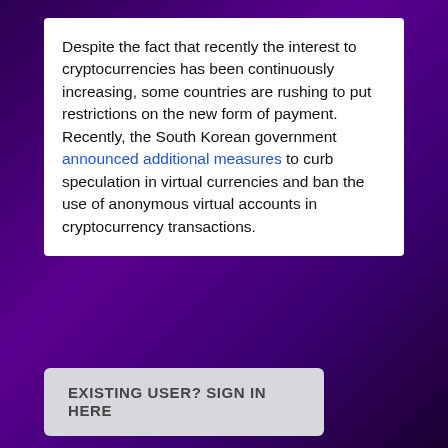Despite the fact that recently the interest to cryptocurrencies has been continuously increasing, some countries are rushing to put restrictions on the new form of payment. Recently, the South Korean government announced additional measures to curb speculation in virtual currencies and ban the use of anonymous virtual accounts in cryptocurrency transactions.
EXISTING USER? SIGN IN HERE
(Source: sputniknews.com; December 31, 2017; http://tinyurl.com/y9nk4hcz)